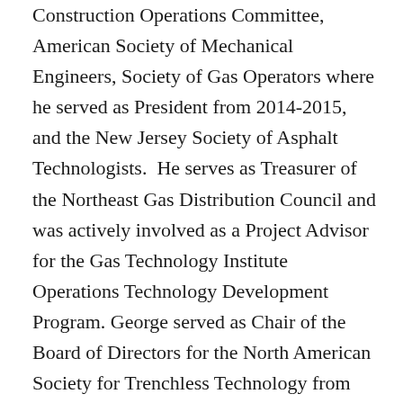Construction Operations Committee, American Society of Mechanical Engineers, Society of Gas Operators where he served as President from 2014-2015, and the New Jersey Society of Asphalt Technologists.  He serves as Treasurer of the Northeast Gas Distribution Council and was actively involved as a Project Advisor for the Gas Technology Institute Operations Technology Development Program. George served as Chair of the Board of Directors for the North American Society for Trenchless Technology from 2011-2012 and served as Program Chair for the Annual No-Dig Conference in 2012. In addition, he served as Chair of the NYSEARCH – Northeast Gas Association R&D Committee from 2004-2006 and continues to serve as a technical project advisor for that group. George also previously served as a Distribution Project